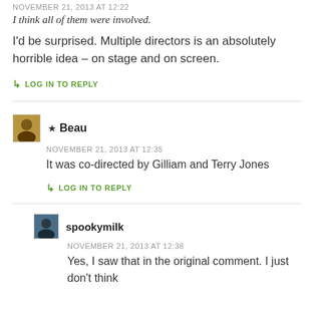NOVEMBER 21, 2013 AT 12:22
I think all of them were involved.
I'd be surprised. Multiple directors is an absolutely horrible idea – on stage and on screen.
LOG IN TO REPLY
★ Beau
NOVEMBER 21, 2013 AT 12:35
It was co-directed by Gilliam and Terry Jones
LOG IN TO REPLY
spookymilk
NOVEMBER 21, 2013 AT 12:38
Yes, I saw that in the original comment. I just don't think